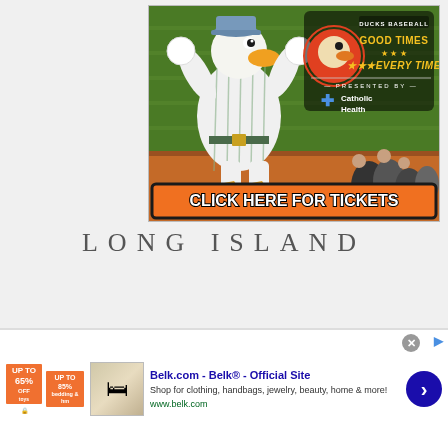[Figure (photo): Ducks Baseball promotional advertisement showing a duck mascot in a baseball uniform with arms raised, baseball field background, Ducks Baseball 'Good Times Every Time' logo with Catholic Health as presenter sponsor, and orange 'Click Here For Tickets' button at bottom]
LONG ISLAND
[Figure (screenshot): Belk.com advertisement banner showing: UP TO 85% OFF bedding & home items, product thumbnail image, Belk.com - Belk Official Site headline, Shop for clothing, handbags, jewelry, beauty, home & more! www.belk.com, with blue circular arrow button]